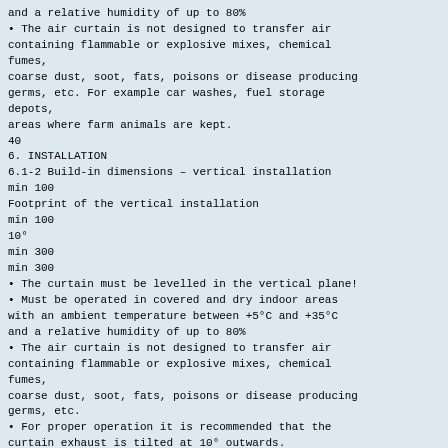and a relative humidity of up to 80%
The air curtain is not designed to transfer air containing flammable or explosive mixes, chemical fumes,
coarse dust, soot, fats, poisons or disease producing germs, etc. For example car washes, fuel storage depots,
areas where farm animals are kept.
40
6. INSTALLATION
6.1-2 Build-in dimensions – vertical installation
min 100
Footprint of the vertical installation
min 100
10°
min 300
min 300
The curtain must be levelled in the vertical plane!
Must be operated in covered and dry indoor areas with an ambient temperature between +5°C and +35°C and a relative humidity of up to 80%
The air curtain is not designed to transfer air containing flammable or explosive mixes, chemical fumes,
coarse dust, soot, fats, poisons or disease producing germs, etc.
For proper operation it is recommended that the curtain exhaust is tilted at 10° outwards.
Footprint of the vertical installation
41
6. INSTALLATION
6.1-3 Separation distances
500